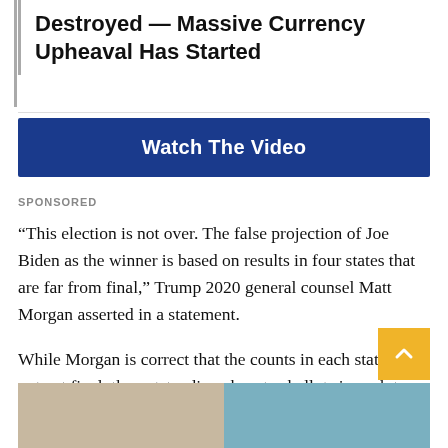Destroyed — Massive Currency Upheaval Has Started
[Figure (other): Blue button advertisement reading 'Watch The Video']
SPONSORED
“This election is not over. The false projection of Joe Biden as the winner is based on results in four states that are far from final,” Trump 2020 general counsel Matt Morgan asserted in a statement.
While Morgan is correct that the counts in each state are not yet final, the outstanding absentee ballots in each to-be-called state come largely from Democratic-leaning or heavily Democratic areas and have generally tilted toward Biden regardless of where they were cast.
[Figure (photo): Two people photographed side by side, partially visible at bottom of page]